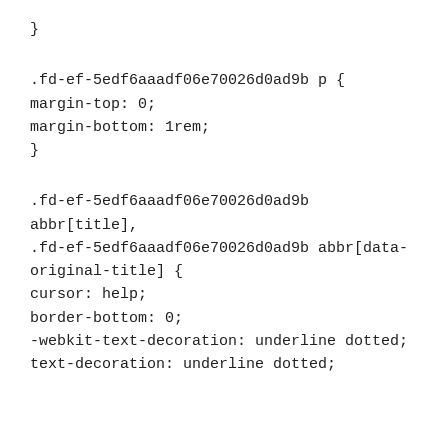}
.fd-ef-5edf6aaadf06e70026d0ad9b p {
margin-top: 0;
margin-bottom: 1rem;
}
.fd-ef-5edf6aaadf06e70026d0ad9b abbr[title],
.fd-ef-5edf6aaadf06e70026d0ad9b abbr[data-original-title] {
cursor: help;
border-bottom: 0;
-webkit-text-decoration: underline dotted;
text-decoration: underline dotted;